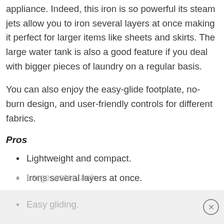appliance. Indeed, this iron is so powerful its steam jets allow you to iron several layers at once making it perfect for larger items like sheets and skirts. The large water tank is also a good feature if you deal with bigger pieces of laundry on a regular basis.
You can also enjoy the easy-glide footplate, no-burn design, and user-friendly controls for different fabrics.
Pros
Lightweight and compact.
Irons several layers at once.
Large water tank.
Easy gliding.